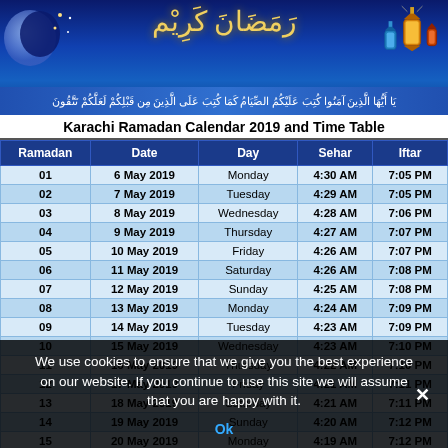[Figure (illustration): Ramadan Kareem decorative header with Arabic calligraphy, crescent moon on left, lanterns on right, blue gradient background. Arabic verse banner at bottom of header.]
Karachi Ramadan Calendar 2019 and Time Table
| Ramadan | Date | Day | Sehar | Iftar |
| --- | --- | --- | --- | --- |
| 01 | 6 May 2019 | Monday | 4:30 AM | 7:05 PM |
| 02 | 7 May 2019 | Tuesday | 4:29 AM | 7:05 PM |
| 03 | 8 May 2019 | Wednesday | 4:28 AM | 7:06 PM |
| 04 | 9 May 2019 | Thursday | 4:27 AM | 7:07 PM |
| 05 | 10 May 2019 | Friday | 4:26 AM | 7:07 PM |
| 06 | 11 May 2019 | Saturday | 4:26 AM | 7:08 PM |
| 07 | 12 May 2019 | Sunday | 4:25 AM | 7:08 PM |
| 08 | 13 May 2019 | Monday | 4:24 AM | 7:09 PM |
| 09 | 14 May 2019 | Tuesday | 4:23 AM | 7:09 PM |
| 10 | 15 May 2019 | Wednesday | 4:23 AM | 7:10 PM |
| 11 | 16 May 2019 | Thursday | 4:22 AM | 7:10 PM |
| 12 | 17 May 2019 | Friday | 4:21 AM | 7:11 PM |
| 13 | 18 May 2019 | Saturday | 4:21 AM | 7:11 PM |
| 14 | 19 May 2019 | Sunday | 4:20 AM | 7:12 PM |
| 15 | 20 May 2019 | Monday | 4:19 AM | 7:12 PM |
We use cookies to ensure that we give you the best experience on our website. If you continue to use this site we will assume that you are happy with it.